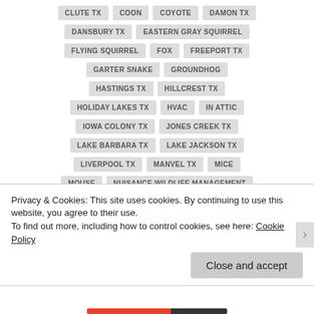CLUTE TX
COON
COYOTE
DAMON TX
DANSBURY TX
EASTERN GRAY SQUIRREL
FLYING SQUIRREL
FOX
FREEPORT TX
GARTER SNAKE
GROUNDHOG
HASTINGS TX
HILLCREST TX
HOLIDAY LAKES TX
HVAC
IN ATTIC
IOWA COLONY TX
JONES CREEK TX
LAKE BARBARA TX
LAKE JACKSON TX
LIVERPOOL TX
MANVEL TX
MICE
MOUSE
NUISANCE WILDLIFE MANAGEMENT
OLD BRAZORIA TX
OPOSSUM
Privacy & Cookies: This site uses cookies. By continuing to use this website, you agree to their use.
To find out more, including how to control cookies, see here: Cookie Policy
Close and accept